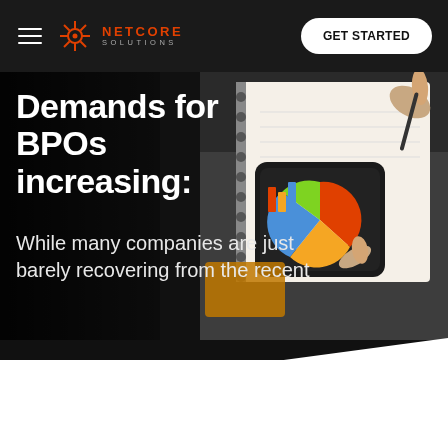NETCORE SOLUTIONS | GET STARTED
Demands for BPOs increasing:
While many companies are just barely recovering from the recent
[Figure (screenshot): Hero section screenshot of Netcore Solutions website with dark background, navigation bar, logo, GET STARTED button, large white bold heading 'Demands for BPOs increasing:', subtitle text, and a background photo showing hands over a notebook with a smartphone displaying charts and an orange card.]